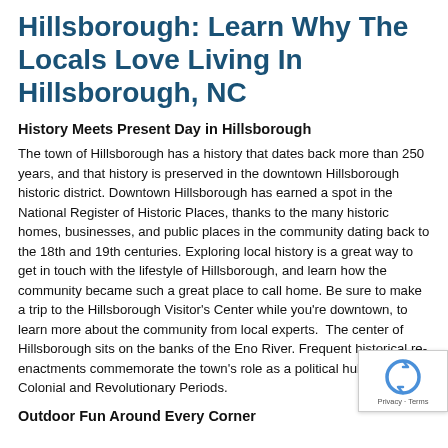Hillsborough: Learn Why The Locals Love Living In Hillsborough, NC
History Meets Present Day in Hillsborough
The town of Hillsborough has a history that dates back more than 250 years, and that history is preserved in the downtown Hillsborough historic district. Downtown Hillsborough has earned a spot in the National Register of Historic Places, thanks to the many historic homes, businesses, and public places in the community dating back to the 18th and 19th centuries. Exploring local history is a great way to get in touch with the lifestyle of Hillsborough, and learn how the community became such a great place to call home. Be sure to make a trip to the Hillsborough Visitor's Center while you're downtown, to learn more about the community from local experts.  The center of Hillsborough sits on the banks of the Eno River. Frequent historical re-enactments commemorate the town's role as a political hub during the Colonial and Revolutionary Periods.
Outdoor Fun Around Every Corner